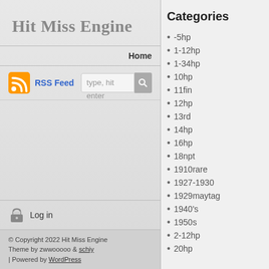Hit Miss Engine
Home
RSS Feed  type, hit enter
Log in
© Copyright 2022 Hit Miss Engine Theme by zwwooooo & schiy | Powered by WordPress
Categories
-5hp
1-12hp
1-34hp
10hp
11fin
12hp
13rd
14hp
16hp
18npt
1910rare
1927-1930
1929maytag
1940's
1950s
2-12hp
20hp